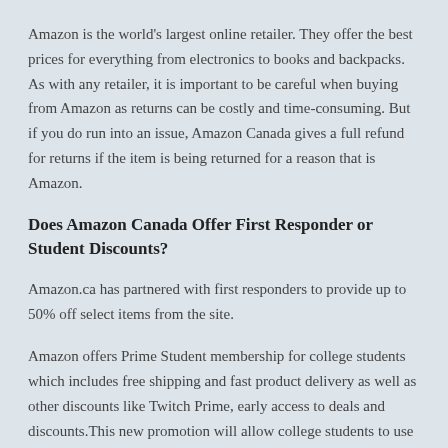Amazon is the world's largest online retailer. They offer the best prices for everything from electronics to books and backpacks. As with any retailer, it is important to be careful when buying from Amazon as returns can be costly and time-consuming. But if you do run into an issue, Amazon Canada gives a full refund for returns if the item is being returned for a reason that is Amazon.
Does Amazon Canada Offer First Responder or Student Discounts?
Amazon.ca has partnered with first responders to provide up to 50% off select items from the site.
Amazon offers Prime Student membership for college students which includes free shipping and fast product delivery as well as other discounts like Twitch Prime, early access to deals and discounts.This new promotion will allow college students to use Amazon Prime for six months at half the cost, which is a great way to get accustomed to the service before a long commitment.